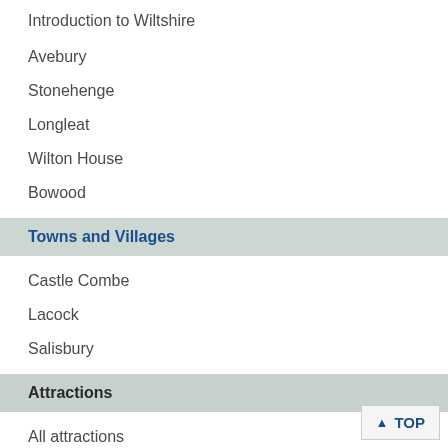Introduction to Wiltshire
Avebury
Stonehenge
Longleat
Wilton House
Bowood
Towns and Villages
Castle Combe
Lacock
Salisbury
Attractions
All attractions